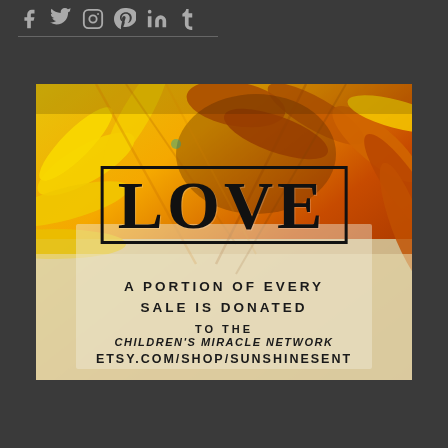Social media icons: Facebook, Twitter, Instagram, Pinterest, LinkedIn, Tumblr
[Figure (illustration): Promotional card with a close-up sunflower photo background (yellow and orange petals). Overlaid text reads: LOVE (large serif font in black border box), A PORTION OF EVERY SALE IS DONATED, TO THE, CHILDREN'S MIRACLE NETWORK, ETSY.COM/SHOP/SUNSHINESENT]